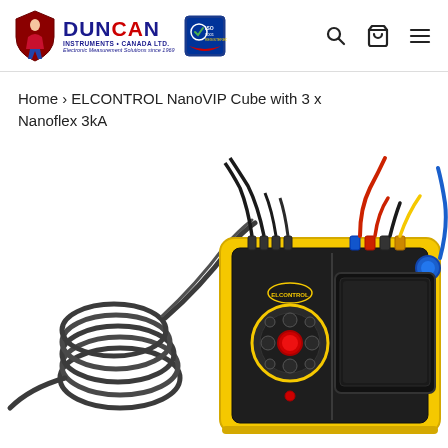Duncan Instruments Canada Ltd. — Logo, search, cart, and menu navigation
Home › ELCONTROL NanoVIP Cube with 3 x Nanoflex 3kA
[Figure (photo): ELCONTROL NanoVIP Cube measurement device with yellow and black casing, display screen, control buttons, and multiple colored cable connections (red, black, yellow, blue) attached to the top ports, with coiled black cables extending to the left.]